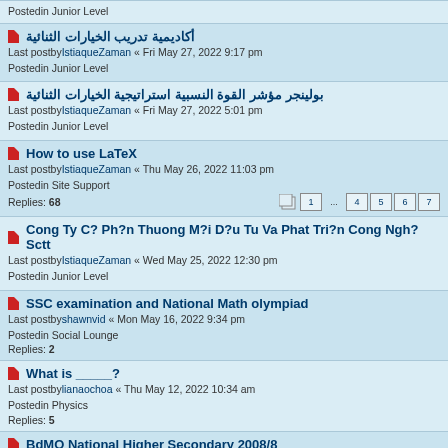Postedin Junior Level
أكاديمية تدريب الخيارات الثنائية
Last postbyIstiaqueZaman « Fri May 27, 2022 9:17 pm
Postedin Junior Level
بولينجر مؤشر القوة النسبية استراتيجية الخيارات الثنائية
Last postbyIstiaqueZaman « Fri May 27, 2022 5:01 pm
Postedin Junior Level
How to use LaTeX
Last postbyIstiaqueZaman « Thu May 26, 2022 11:03 pm
Postedin Site Support
Replies: 68
Cong Ty C? Ph?n Thuong M?i D?u Tu Va Phat Tri?n Cong Ngh? Sctt
Last postbyIstiaqueZaman « Wed May 25, 2022 12:30 pm
Postedin Junior Level
SSC examination and National Math olympiad
Last postbyshawnvid « Mon May 16, 2022 9:34 pm
Postedin Social Lounge
Replies: 2
What is _____?
Last postbylianaochoa « Thu May 12, 2022 10:34 am
Postedin Physics
Replies: 5
BdMO National Higher Secondary 2008/8
Last postbylilywatson1v « Tue May 10, 2022 8:29 am
Postedin National Math Olympiad (BdMO)
Replies: 4